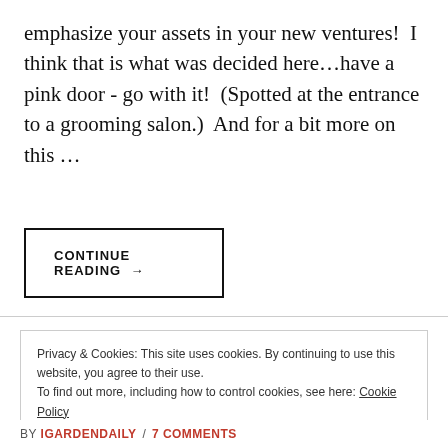emphasize your assets in your new ventures!  I think that is what was decided here…have a pink door - go with it!  (Spotted at the entrance to a grooming salon.)  And for a bit more on this …
CONTINUE READING →
Privacy & Cookies: This site uses cookies. By continuing to use this website, you agree to their use.
To find out more, including how to control cookies, see here: Cookie Policy
Close and accept
BY IGARDENDAILY / 7 COMMENTS